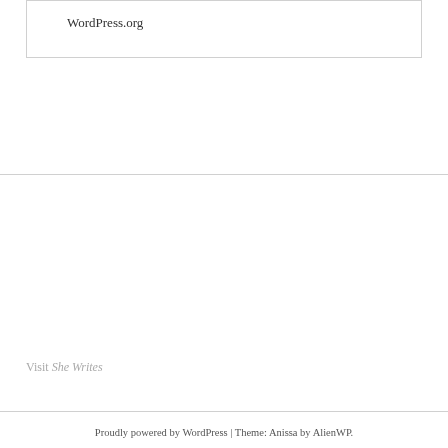WordPress.org
Visit She Writes
Proudly powered by WordPress | Theme: Anissa by AlienWP.